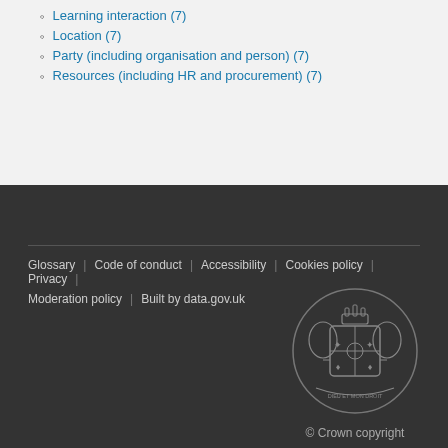Learning interaction (7)
Location (7)
Party (including organisation and person) (7)
Resources (including HR and procurement) (7)
Glossary | Code of conduct | Accessibility | Cookies policy | Privacy | Moderation policy | Built by data.gov.uk
© Crown copyright